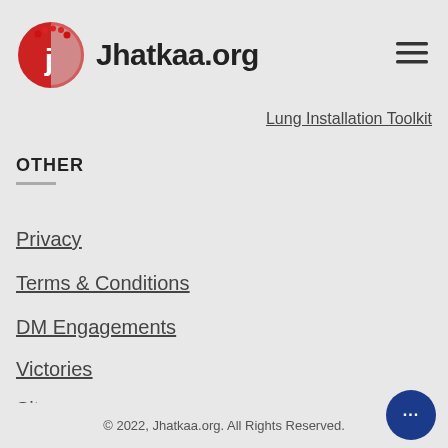[Figure (logo): Jhatkaa.org logo with red circular icon featuring a white 'j' and people silhouettes, followed by bold text 'Jhatkaa.org' and a hamburger menu icon on the right]
Lung Installation Toolkit
OTHER
Privacy
Terms & Conditions
DM Engagements
Victories
Sitemap
© 2022, Jhatkaa.org. All Rights Reserved.